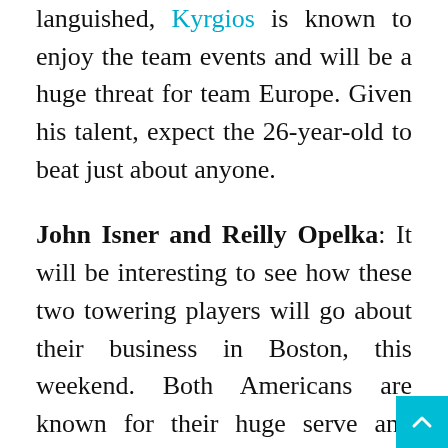languished, Kyrgios is known to enjoy the team events and will be a huge threat for team Europe. Given his talent, expect the 26-year-old to beat just about anyone.
John Isner and Reilly Opelka: It will be interesting to see how these two towering players will go about their business in Boston, this weekend. Both Americans are known for their huge serve and powerful shots. Given their identical game, it is likely that captain McEnroe might want to field them in the doubles. If Isner/Opelka can find their range, they could pull off the doubles tie for Team World.